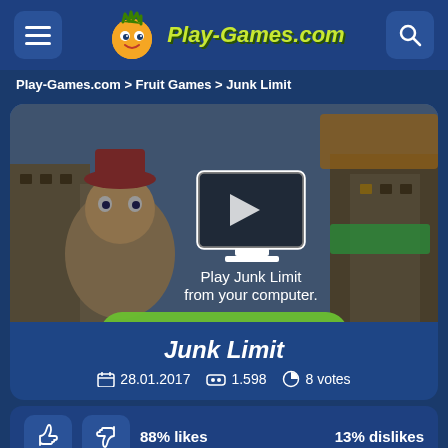Play-Games.com
Play-Games.com > Fruit Games > Junk Limit
[Figure (screenshot): Game thumbnail for Junk Limit showing cartoon characters with a play button overlay, text 'Play Junk Limit from your computer.' and a green 'Try some similar games!' button]
Junk Limit
28.01.2017  1.598  8 votes
88% likes  13% dislikes